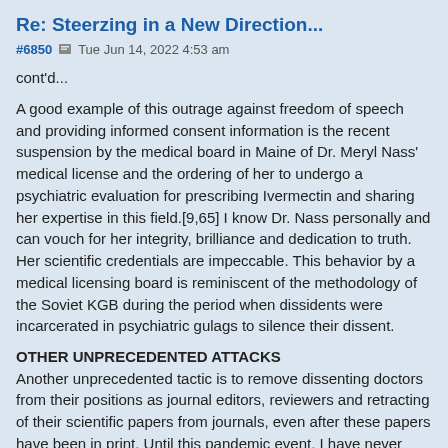Re: Steerzing in a New Direction...
#6850  Tue Jun 14, 2022 4:53 am
cont'd...
A good example of this outrage against freedom of speech and providing informed consent information is the recent suspension by the medical board in Maine of Dr. Meryl Nass' medical license and the ordering of her to undergo a psychiatric evaluation for prescribing Ivermectin and sharing her expertise in this field.[9,65] I know Dr. Nass personally and can vouch for her integrity, brilliance and dedication to truth. Her scientific credentials are impeccable. This behavior by a medical licensing board is reminiscent of the methodology of the Soviet KGB during the period when dissidents were incarcerated in psychiatric gulags to silence their dissent.
OTHER UNPRECEDENTED ATTACKS
Another unprecedented tactic is to remove dissenting doctors from their positions as journal editors, reviewers and retracting of their scientific papers from journals, even after these papers have been in print. Until this pandemic event, I have never seen so many journal papers being retracted— the vast majority promoting alternatives to official dogma, especially if the papers question vaccine safety. Normally a submitted paper or study is reviewed by experts in the field, called peer review. These reviews can be quite intense and nit picking in detail, insisting that all errors within the paper be corrected before publication. So, unless